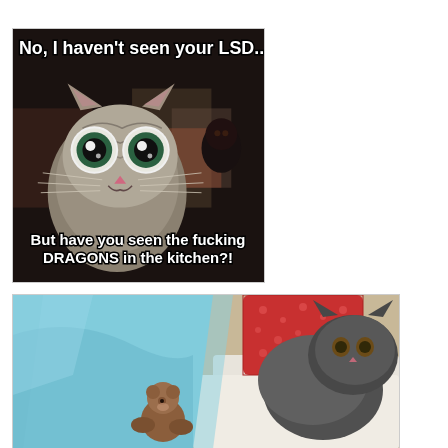[Figure (photo): Internet meme image of a wide-eyed cat with text 'No, I haven't seen your LSD...' at top and 'But have you seen the fucking DRAGONS in the kitchen?!' at bottom, dark background]
[Figure (photo): Photo of a cat tucked under a light blue blanket, resting on a red patterned pillow, with a small brown teddy bear stuffed animal]